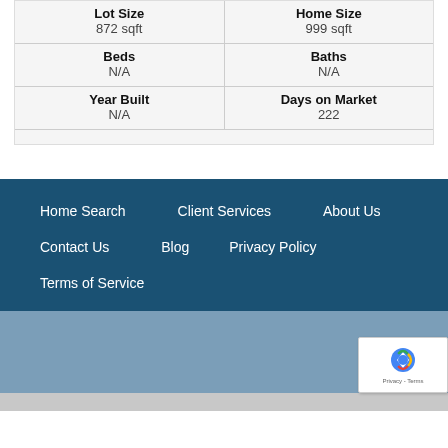| Lot Size | Home Size |
| --- | --- |
| 872 sqft | 999 sqft |
| Beds | Baths |
| --- | --- |
| N/A | N/A |
| Year Built | Days on Market |
| --- | --- |
| N/A | 222 |
Home Search
Client Services
About Us
Contact Us
Blog
Privacy Policy
Terms of Service